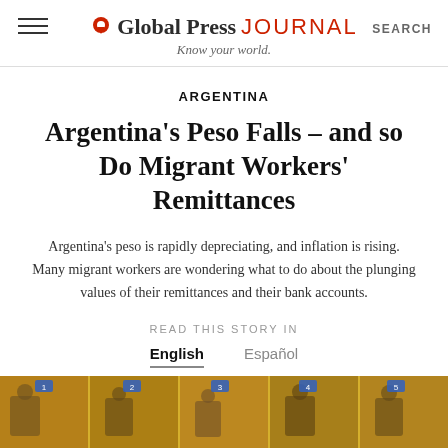Global Press JOURNAL — Know your world. | SEARCH
ARGENTINA
Argentina's Peso Falls – and so Do Migrant Workers' Remittances
Argentina's peso is rapidly depreciating, and inflation is rising. Many migrant workers are wondering what to do about the plunging values of their remittances and their bank accounts.
READ THIS STORY IN
English   Español
[Figure (photo): Photo strip at bottom showing people in what appears to be an office or service counter setting with yellow background]